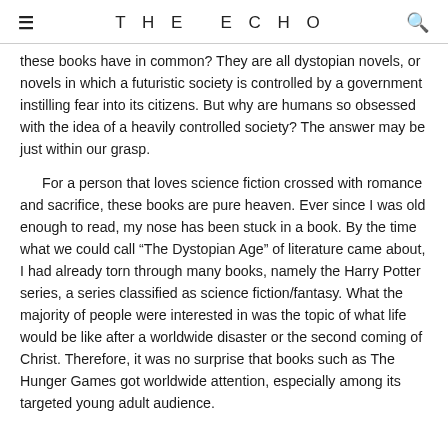THE ECHO
these books have in common? They are all dystopian novels, or novels in which a futuristic society is controlled by a government instilling fear into its citizens. But why are humans so obsessed with the idea of a heavily controlled society? The answer may be just within our grasp.
For a person that loves science fiction crossed with romance and sacrifice, these books are pure heaven. Ever since I was old enough to read, my nose has been stuck in a book. By the time what we could call "The Dystopian Age" of literature came about, I had already torn through many books, namely the Harry Potter series, a series classified as science fiction/fantasy. What the majority of people were interested in was the topic of what life would be like after a worldwide disaster or the second coming of Christ. Therefore, it was no surprise that books such as The Hunger Games got worldwide attention, especially among its targeted young adult audience.